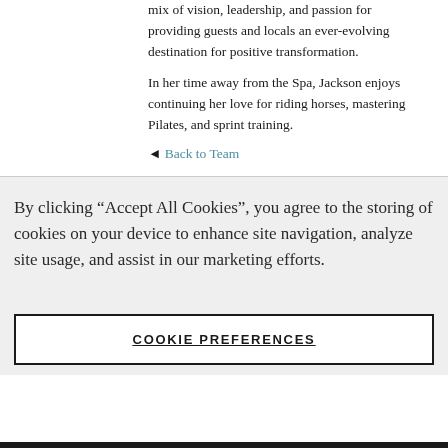mix of vision, leadership, and passion for providing guests and locals an ever-evolving destination for positive transformation.
In her time away from the Spa, Jackson enjoys continuing her love for riding horses, mastering Pilates, and sprint training.
◄ Back to Team
By clicking “Accept All Cookies”, you agree to the storing of cookies on your device to enhance site navigation, analyze site usage, and assist in our marketing efforts.
COOKIE PREFERENCES